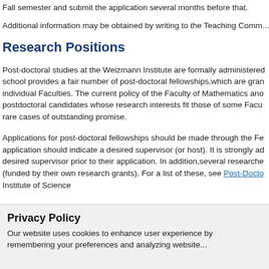Fall semester and submit the application several months before that.
Additional information may be obtained by writing to the Teaching Comm...
Research Positions
Post-doctoral studies at the Weizmann Institute are formally administered... school provides a fair number of post-doctoral fellowships,which are gran... individual Faculties. The current policy of the Faculty of Mathematics and... postdoctoral candidates whose research interests fit those of some Facu... rare cases of outstanding promise.
Applications for post-doctoral fellowships should be made through the Fe... application should indicate a desired supervisor (or host). It is strongly ad... desired supervisor prior to their application. In addition,several researche... (funded by their own research grants). For a list of these, see Post-Docto... Institute of Science
Privacy Policy
Our website uses cookies to enhance user experience by remembering your preferences and analyzing website...